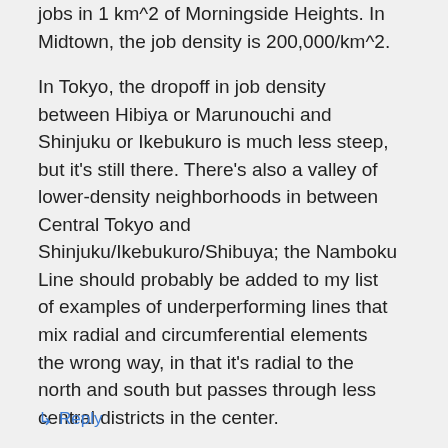jobs in 1 km^2 of Morningside Heights. In Midtown, the job density is 200,000/km^2.
In Tokyo, the dropoff in job density between Hibiya or Marunouchi and Shinjuku or Ikebukuro is much less steep, but it's still there. There's also a valley of lower-density neighborhoods in between Central Tokyo and Shinjuku/Ikebukuro/Shibuya; the Namboku Line should probably be added to my list of examples of underperforming lines that mix radial and circumferential elements the wrong way, in that it's radial to the north and south but passes through less central districts in the center.
↳ Reply